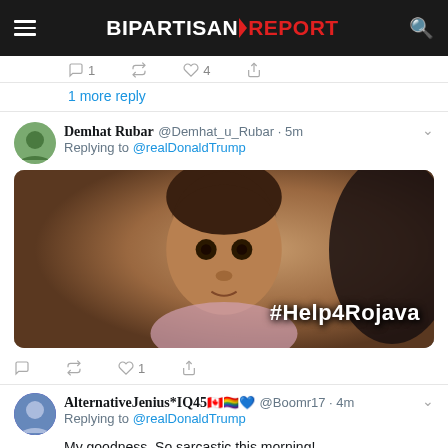BIPARTISAN REPORT
1 more reply
Demhat Rubar @Demhat_u_Rubar · 5m
Replying to @realDonaldTrump
[Figure (photo): Photo of a young child with WHO logo overlay and #Help4Rojava hashtag text]
AlternativeJenius*IQ45🇨🇦🏳️‍🌈💙 @Boomr17 · 4m
Replying to @realDonaldTrump
My goodness. So sarcastic this morning!
The Mueller Report Adventures: In Bite-Sizes on this Facebook page. These quick, two-minute reads interpret